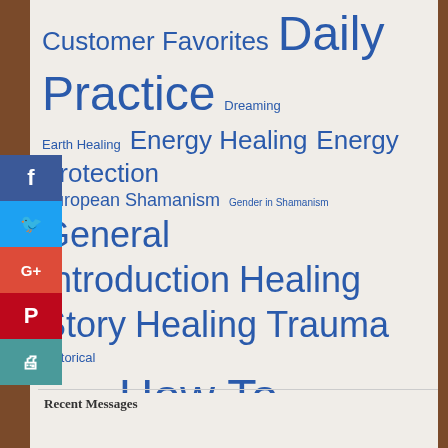[Figure (other): Tag cloud with shamanism/healing related topics in varying font sizes and blue color, with social sharing sidebar (Facebook, Twitter, Google+, Pinterest, Print) on the left edge]
Recent Messages